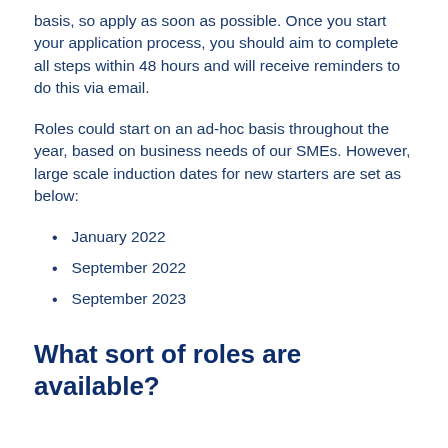basis, so apply as soon as possible. Once you start your application process, you should aim to complete all steps within 48 hours and will receive reminders to do this via email.
Roles could start on an ad-hoc basis throughout the year, based on business needs of our SMEs. However, large scale induction dates for new starters are set as below:
January 2022
September 2022
September 2023
What sort of roles are available?